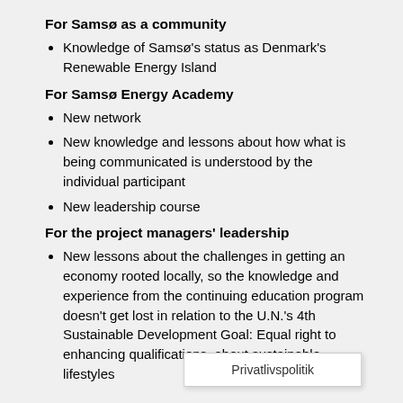For Samsø as a community
Knowledge of Samsø's status as Denmark's Renewable Energy Island
For Samsø Energy Academy
New network
New knowledge and lessons about how what is being communicated is understood by the individual participant
New leadership course
For the project managers' leadership
New lessons about the challenges in getting an economy rooted locally, so the knowledge and experience from the continuing education program doesn't get lost in relation to the U.N.'s 4th Sustainable Development Goal: Equal right to enhancing qualifications. … about sustainable lifestyles
Privatlivspolitik